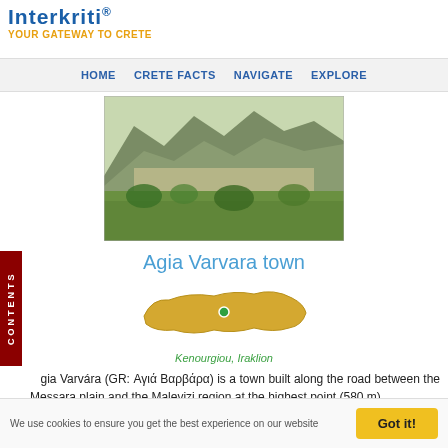Interkriti® YOUR GATEWAY TO CRETE
HOME  CRETE FACTS  NAVIGATE  EXPLORE
[Figure (photo): Aerial/hillside panoramic photo of Agia Varvara town with mountains in the background and green fields in front]
Agia Varvara town
[Figure (map): Small map of Crete island (golden/yellow shape) with a green dot marking the location of Agia Varvara]
Kenourgiou, Iraklion
Agia Varvára (GR: Αγιά Βαρβάρα) is a town built along the road between the Messara plain and the Malevizi region at the highest point (580 m).
The town enjoys a unique location with a splendid view into the Malevizi region, and a cool climate, particularly pleasant
We use cookies to ensure you get the best experience on our website